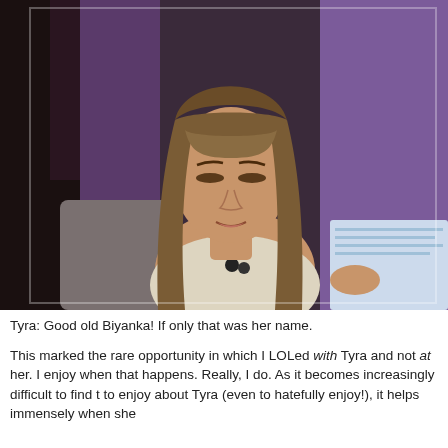[Figure (photo): A woman with long straight brown hair and bangs, wearing a light-colored sleeveless top with a black necklace, seated in a chair, looking downward, apparently reading something. Background shows purple and dark curtains, suggesting a TV talk show set.]
Tyra: Good old Biyanka! If only that was her name.
This marked the rare opportunity in which I LOLed with Tyra and not at her. I enjoy when that happens. Really, I do. As it becomes increasingly difficult to find things to enjoy about Tyra (even to hatefully enjoy!), it helps immensely when she